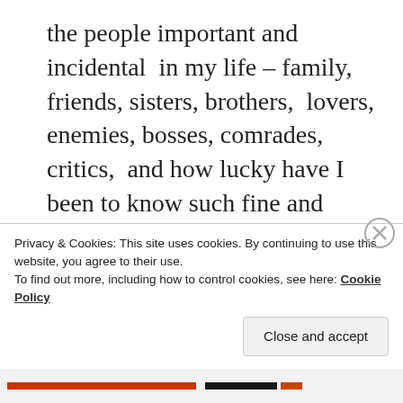the people important and incidental in my life – family, friends, sisters, brothers, lovers, enemies, bosses, comrades, critics, and how lucky have I been to know such fine and varied souls. And R souls too. A few online friendships have been deep too. But family has come back vividly and we have such a big mob of brothers and sisters – 12 kids between us and their kids, our beloved nieces and nephews
Privacy & Cookies: This site uses cookies. By continuing to use this website, you agree to their use.
To find out more, including how to control cookies, see here: Cookie Policy
Close and accept